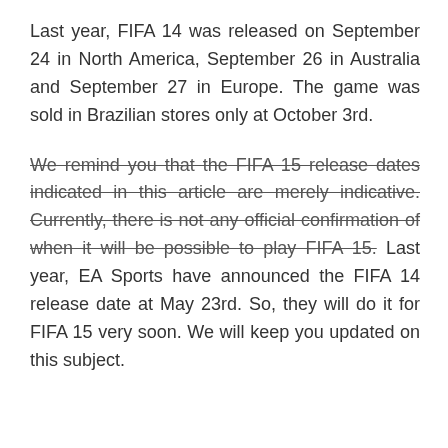Last year, FIFA 14 was released on September 24 in North America, September 26 in Australia and September 27 in Europe. The game was sold in Brazilian stores only at October 3rd.
We remind you that the FIFA 15 release dates indicated in this article are merely indicative. Currently, there is not any official confirmation of when it will be possible to play FIFA 15. Last year, EA Sports have announced the FIFA 14 release date at May 23rd. So, they will do it for FIFA 15 very soon. We will keep you updated on this subject.